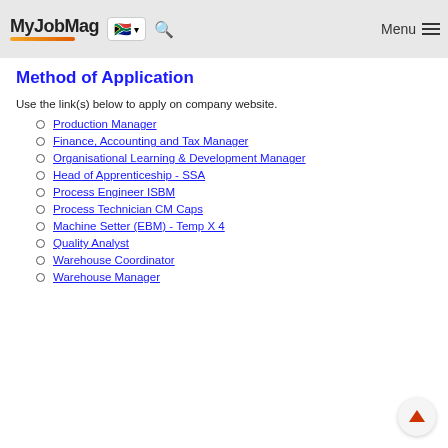MyJobMag [South Africa flag] [Search] Menu
Method of Application
Use the link(s) below to apply on company website.
Production Manager
Finance, Accounting and Tax Manager
Organisational Learning & Development Manager
Head of Apprenticeship - SSA
Process Engineer ISBM
Process Technician CM Caps
Machine Setter (EBM) - Temp X 4
Quality Analyst
Warehouse Coordinator
Warehouse Manager